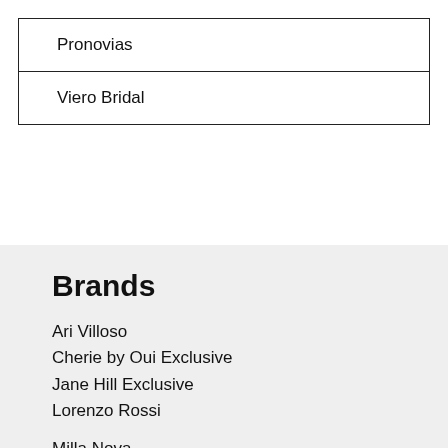| Pronovias |
| Viero Bridal |
Brands
Ari Villoso
Cherie by Oui Exclusive
Jane Hill Exclusive
Lorenzo Rossi
Milla Nova
Pronovias